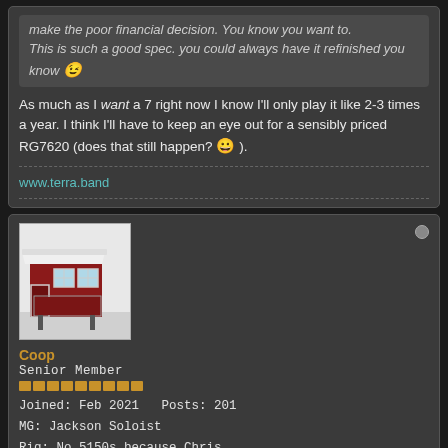make the poor financial decision. You know you want to. This is such a good spec. you could always have it refinished you know 😉
As much as I want a 7 right now I know I'll only play it like 2-3 times a year. I think I'll have to keep an eye out for a sensibly priced RG7620 (does that still happen? 😀 ).
www.terra.band
[Figure (photo): User avatar showing a red and white chicken coop / small shed structure]
Coop
Senior Member
Joined: Feb 2021   Posts: 201
MG: Jackson Soloist
Rig: No 5150s because Chris